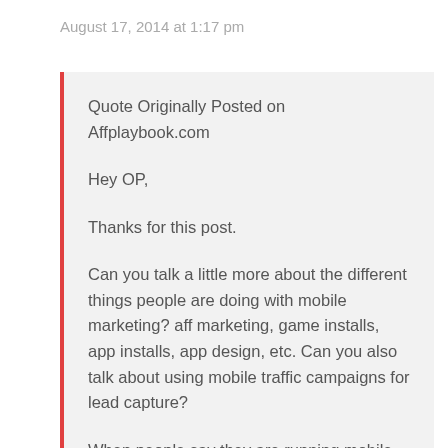August 17, 2014 at 1:17 pm
Quote Originally Posted on Affplaybook.com
Hey OP,
Thanks for this post.
Can you talk a little more about the different things people are doing with mobile marketing? aff marketing, game installs, app installs, app design, etc. Can you also talk about using mobile traffic campaigns for lead capture?
When people say they are running mobile traffic, what search engines / traffic sources